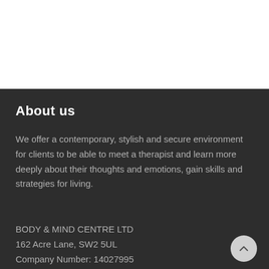About us
We offer a contemporary, stylish and secure environment for clients to be able to meet a therapist and learn more deeply about their thoughts and emotions, gain skills and strategies for living.
BODY & MIND CENTRE LTD
162 Acre Lane, SW2 5UL
Company Number: 14027995